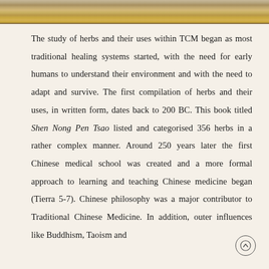[Figure (photo): Decorative strip at top of page showing what appears to be an old manuscript or book pages, with warm brown and golden tones.]
The study of herbs and their uses within TCM began as most traditional healing systems started, with the need for early humans to understand their environment and with the need to adapt and survive. The first compilation of herbs and their uses, in written form, dates back to 200 BC. This book titled Shen Nong Pen Tsao listed and categorised 356 herbs in a rather complex manner. Around 250 years later the first Chinese medical school was created and a more formal approach to learning and teaching Chinese medicine began (Tierra 5-7). Chinese philosophy was a major contributor to Traditional Chinese Medicine. In addition, outer influences like Buddhism, Taoism and